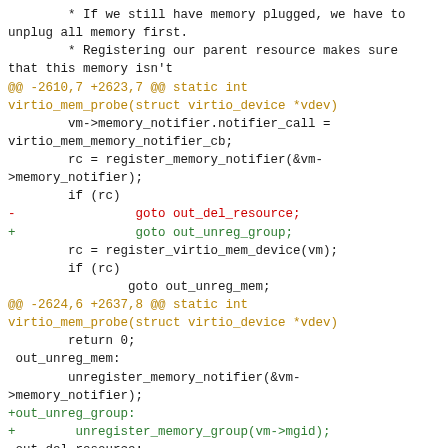Code diff showing changes to virtio_mem_probe function including memory notifier and memory group unregistration